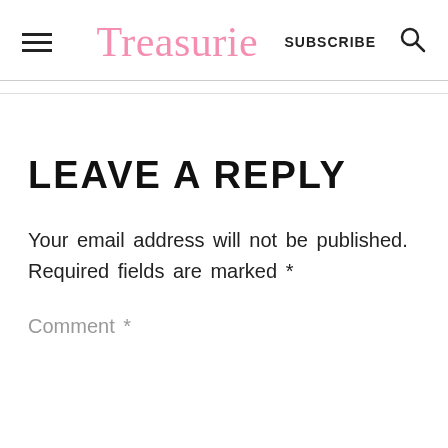Treasurie  SUBSCRIBE
LEAVE A REPLY
Your email address will not be published. Required fields are marked *
Comment *